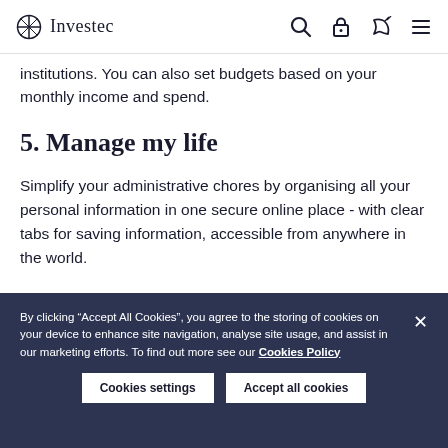Investec
institutions. You can also set budgets based on your monthly income and spend.
5. Manage my life
Simplify your administrative chores by organising all your personal information in one secure online place - with clear tabs for saving information, accessible from anywhere in the world.
By clicking “Accept All Cookies”, you agree to the storing of cookies on your device to enhance site navigation, analyse site usage, and assist in our marketing efforts. To find out more see our Cookies Policy
Cookies settings
Accept all cookies